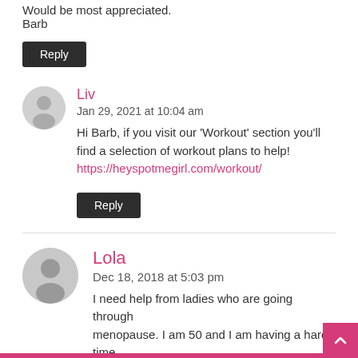Would be most appreciated.
Barb
Reply
Liv
Jan 29, 2021 at 10:04 am
Hi Barb, if you visit our ‘Workout’ section you’ll find a selection of workout plans to help!
https://heyspotmegirl.com/workout/
Reply
Lola
Dec 18, 2018 at 5:03 pm
I need help from ladies who are going through menopause. I am 50 and I am having a hard time